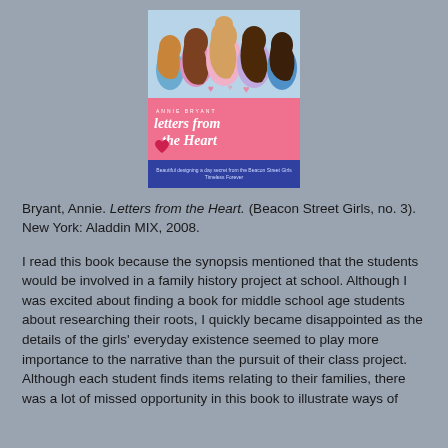[Figure (illustration): Book cover of 'Letters from the Heart' by Annie Bryant (Beacon Street Girls, no. 3). Shows cartoon illustrations of girls' heads from behind on the top portion, pink band with title text in italic script, and dark blue/purple band at bottom with subtitle text.]
Bryant, Annie. Letters from the Heart. (Beacon Street Girls, no. 3). New York: Aladdin MIX, 2008.
I read this book because the synopsis mentioned that the students would be involved in a family history project at school. Although I was excited about finding a book for middle school age students about researching their roots, I quickly became disappointed as the details of the girls' everyday existence seemed to play more importance to the narrative than the pursuit of their class project. Although each student finds items relating to their families, there was a lot of missed opportunity in this book to illustrate ways of